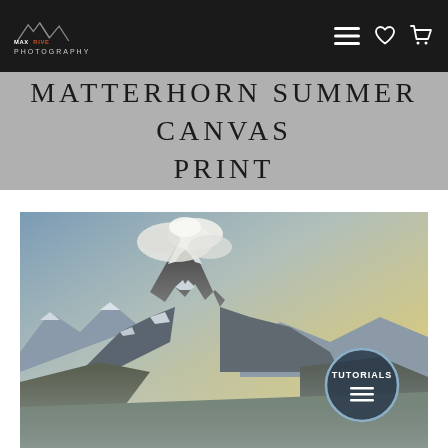MAX RIVE PHOTOGRAPHY — navigation bar with menu, heart, and cart icons
MATTERHORN SUMMER CANVAS PRINT
[Figure (photo): Landscape photograph of the Matterhorn mountain peak in summer, with clouds swirling around the summit, snow-capped ridges, rocky foreground terrain, and golden light on the horizon. A circular 'TUTORIALS' badge overlays the bottom-right corner of the image.]